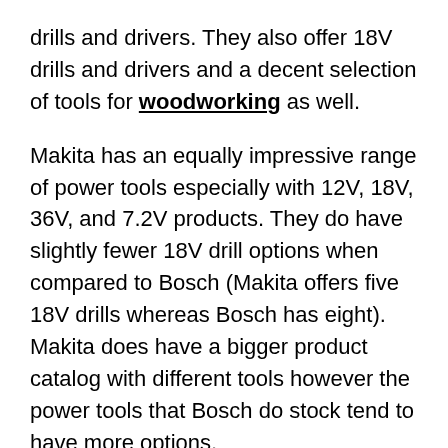drills and drivers. They also offer 18V drills and drivers and a decent selection of tools for woodworking as well.
Makita has an equally impressive range of power tools especially with 12V, 18V, 36V, and 7.2V products. They do have slightly fewer 18V drill options when compared to Bosch (Makita offers five 18V drills whereas Bosch has eight). Makita does have a bigger product catalog with different tools however the power tools that Bosch do stock tend to have more options.
So, there isn't really a big difference between Bosch and Makita. Both offer a wide selection of